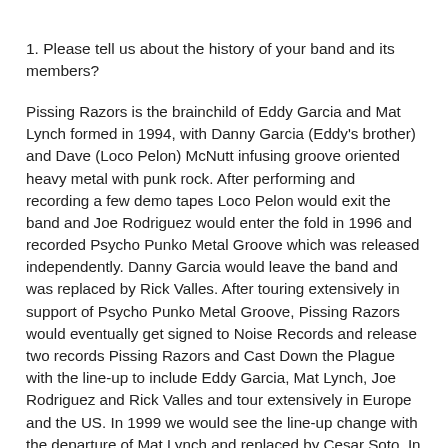1. Please tell us about the history of your band and its members?
Pissing Razors is the brainchild of Eddy Garcia and Mat Lynch formed in 1994, with Danny Garcia (Eddy's brother) and Dave (Loco Pelon) McNutt infusing groove oriented heavy metal with punk rock. After performing and recording a few demo tapes Loco Pelon would exit the band and Joe Rodriguez would enter the fold in 1996 and recorded Psycho Punko Metal Groove which was released independently. Danny Garcia would leave the band and was replaced by Rick Valles. After touring extensively in support of Psycho Punko Metal Groove, Pissing Razors would eventually get signed to Noise Records and release two records Pissing Razors and Cast Down the Plague with the line-up to include Eddy Garcia, Mat Lynch, Joe Rodriguez and Rick Valles and tour extensively in Europe and the US. In 1999 we would see the line-up change with the departure of Mat Lynch and replaced by Cesar Soto. In 2000 would bring another line-up change with the departure of Joe Rodriguez...